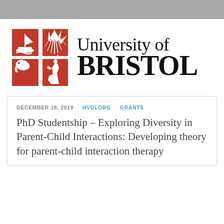[Figure (logo): University of Bristol logo with red shield crest and text 'University of BRISTOL']
DECEMBER 18, 2019    HVDLORG    GRANTS
PhD Studentship – Exploring Diversity in Parent-Child Interactions: Developing theory for parent-child interaction therapy